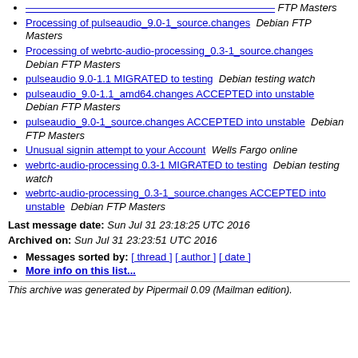[link truncated at top] FTP Masters
Processing of pulseaudio_9.0-1_source.changes  Debian FTP Masters
Processing of webrtc-audio-processing_0.3-1_source.changes  Debian FTP Masters
pulseaudio 9.0-1.1 MIGRATED to testing  Debian testing watch
pulseaudio_9.0-1.1_amd64.changes ACCEPTED into unstable  Debian FTP Masters
pulseaudio_9.0-1_source.changes ACCEPTED into unstable  Debian FTP Masters
Unusual signin attempt to your Account  Wells Fargo online
webrtc-audio-processing 0.3-1 MIGRATED to testing  Debian testing watch
webrtc-audio-processing_0.3-1_source.changes ACCEPTED into unstable  Debian FTP Masters
Last message date: Sun Jul 31 23:18:25 UTC 2016
Archived on: Sun Jul 31 23:23:51 UTC 2016
Messages sorted by: [ thread ] [ author ] [ date ]
More info on this list...
This archive was generated by Pipermail 0.09 (Mailman edition).